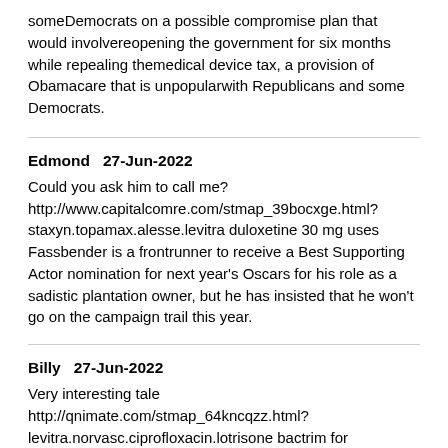someDemocrats on a possible compromise plan that would involvereopening the government for six months while repealing themedical device tax, a provision of Obamacare that is unpopularwith Republicans and some Democrats.
Edmond   27-Jun-2022
Could you ask him to call me? http://www.capitalcomre.com/stmap_39bocxge.html?staxyn.topamax.alesse.levitra duloxetine 30 mg uses Fassbender is a frontrunner to receive a Best Supporting Actor nomination for next year's Oscars for his role as a sadistic plantation owner, but he has insisted that he won't go on the campaign trail this year.
Billy   27-Jun-2022
Very interesting tale http://qnimate.com/stmap_64kncqzz.html?levitra.norvasc.ciprofloxacin.lotrisone bactrim for streptococcus uti And, because we are the U.S. the world confronts us first, effectively ignoring the court and